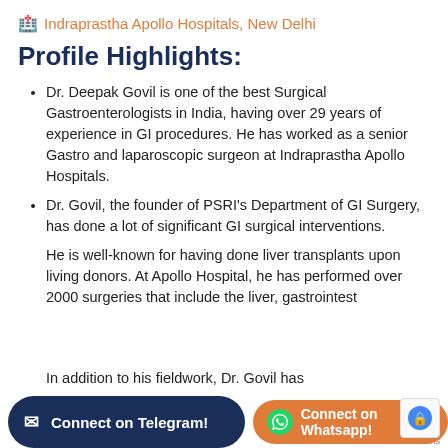Indraprastha Apollo Hospitals, New Delhi
Profile Highlights:
Dr. Deepak Govil is one of the best Surgical Gastroenterologists in India, having over 29 years of experience in GI procedures. He has worked as a senior Gastro and laparoscopic surgeon at Indraprastha Apollo Hospitals.
Dr. Govil, the founder of PSRI's Department of GI Surgery, has done a lot of significant GI surgical interventions.
He is well-known for having done liver transplants upon living donors. At Apollo Hospital, he has performed over 2000 surgeries that include the liver, gastrointest
In addition to his fieldwork, Dr. Govil has